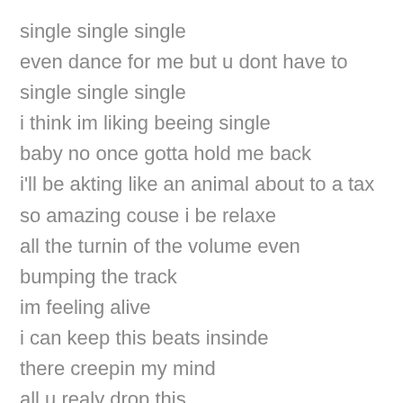single single single
even dance for me but u dont have to
single single single
i think im liking beeing single
baby no once gotta hold me back
i'll be akting like an animal about to a tax
so amazing couse i be relaxe
all the turnin of the volume even
bumping the track
im feeling alive
i can keep this beats insinde
there creepin my mind
all u realy drop this